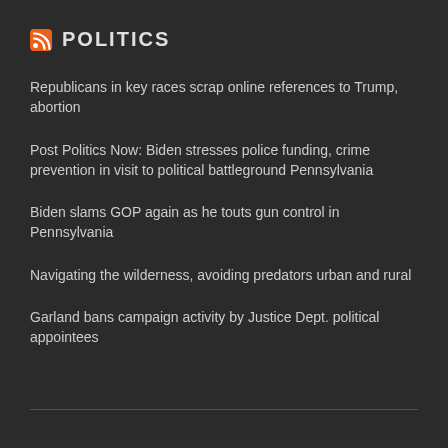POLITICS
Republicans in key races scrap online references to Trump, abortion
Post Politics Now: Biden stresses police funding, crime prevention in visit to political battleground Pennsylvania
Biden slams GOP again as he touts gun control in Pennsylvania
Navigating the wilderness, avoiding predators urban and rural
Garland bans campaign activity by Justice Dept. political appointees